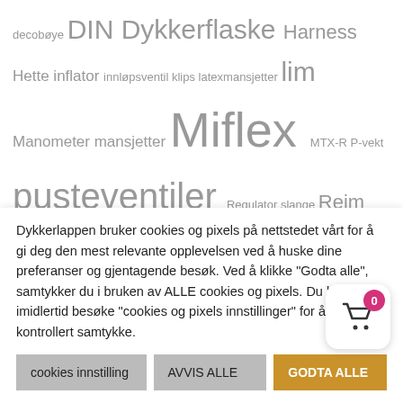decobøye DIN Dykkerflaske Harness Hette inflator innløpsventil klips latexmansjetter lim Manometer mansjetter Miflex MTX-R P-vekt pusteventiler Regulator slange Reim Reimsett SI tech SMB stål Suunto syrefast Tail vekt Tecline tørrhansker V-vekt vektsystem Viking Vinger Waterproof XTX50
Pris filter
[Figure (other): Price range slider with purple track and two circular handles at left and right ends]
Dykkerlappen bruker cookies og pixels på nettstedet vårt for å gi deg den mest relevante opplevelsen ved å huske dine preferanser og gjentagende besøk. Ved å klikke "Godta alle", samtykker du i bruken av ALLE cookies og pixels. Du kan imidlertid besøke "cookies og pixels innstillinger" for å gi et kontrollert samtykke.
cookies innstilling
AVVIS ALLE
GODTA ALLE